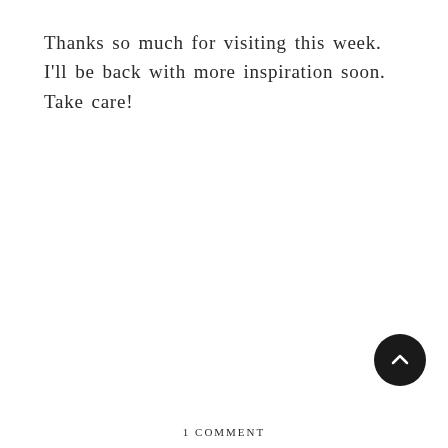Thanks so much for visiting this week.  I'll be back with more inspiration soon.  Take care!
[Figure (other): Back-to-top button: dark circle with upward-pointing chevron arrow in white]
1 COMMENT